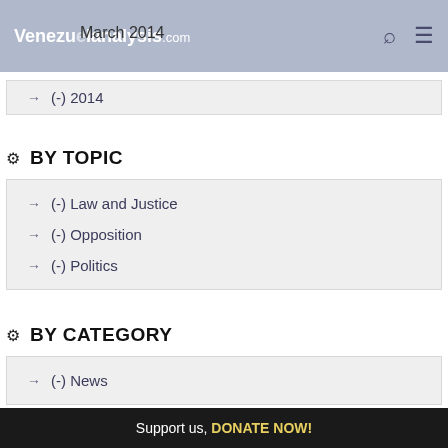Venezuelanalysis.com  March 2014
→ (-) 2014
⚙ BY TOPIC
→ (-) Law and Justice
→ (-) Opposition
→ (-) Politics
⚙ BY CATEGORY
→ (-) News
Support us, DONATE NOW!